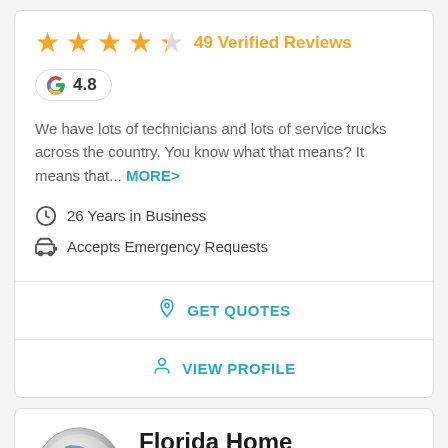[Figure (other): 4 orange filled stars and 1 half-filled/empty star rating]
49 Verified Reviews
[Figure (other): Google logo badge showing G 4.8 rating]
We have lots of technicians and lots of service trucks across the country. You know what that means? It means that... MORE>
26 Years in Business
Accepts Emergency Requests
GET QUOTES
VIEW PROFILE
[Figure (logo): Florida Home Improvement Associates (FHIA) circular logo with blue Florida state shape and red FHIA text]
Florida Home Improvement Associates